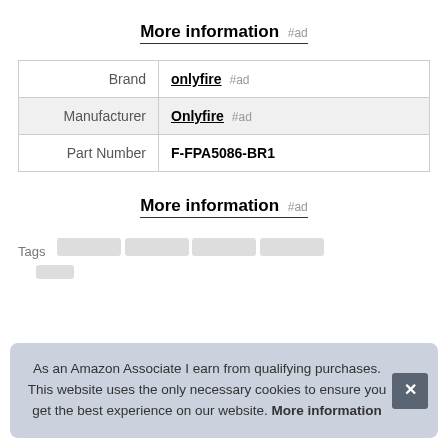More information #ad
|  |  |
| --- | --- |
| Brand | onlyfire #ad |
| Manufacturer | Onlyfire #ad |
| Part Number | F-FPA5086-BR1 |
More information #ad
Tags
As an Amazon Associate I earn from qualifying purchases. This website uses the only necessary cookies to ensure you get the best experience on our website. More information